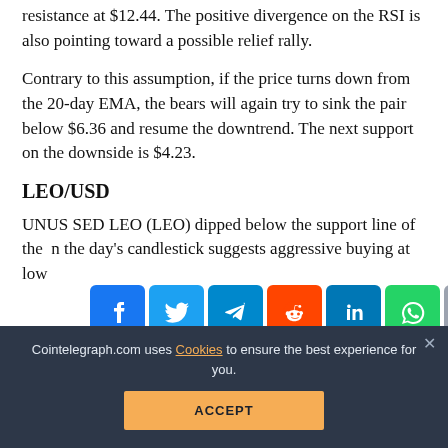resistance at $12.44. The positive divergence on the RSI is also pointing toward a possible relief rally.
Contrary to this assumption, if the price turns down from the 20-day EMA, the bears will again try to sink the pair below $6.36 and resume the downtrend. The next support on the downside is $4.23.
LEO/USD
UNUS SED LEO (LEO) dipped below the support line of the ... the day's candlestick suggests aggressive buying at low...
[Figure (infographic): Social share buttons bar: Facebook (blue), Twitter (light blue), Telegram (blue), Reddit (orange), LinkedIn (dark blue), WhatsApp (green), Copy (gray), Scroll-up (yellow/gold)]
Cointelegraph.com uses Cookies to ensure the best experience for you.
ACCEPT